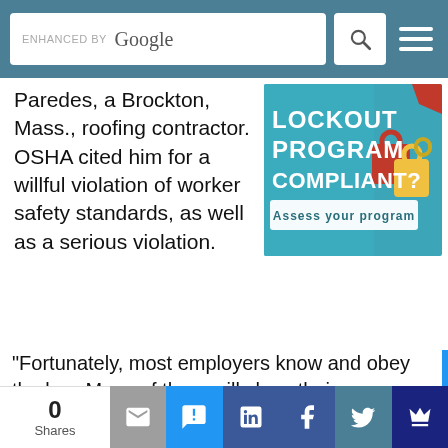ENHANCED BY Google [search bar with search icon and menu]
Paredes, a Brockton, Mass., roofing contractor. OSHA cited him for a willful violation of worker safety standards, as well as a serious violation.
[Figure (photo): Advertisement banner: 'LOCKOUT PROGRAM COMPLIANT? Assess your program' with padlocks image on teal/blue background]
"Fortunately, most employers know and obey the law. Many of them will show their commitment to worker safety during the National Safety Stand-Down from May 4-15. We
0 Shares | email | SMS | LinkedIn | Facebook | Twitter | crown icon